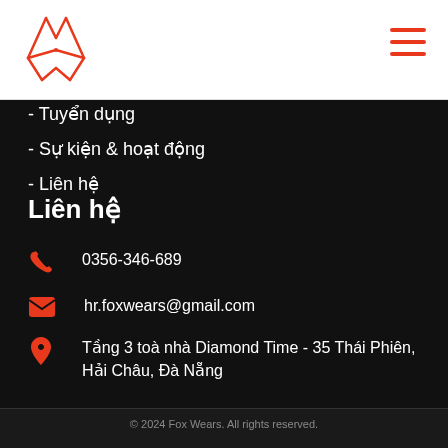[Figure (logo): Fox logo - red/orange line art of a fox face]
[Figure (other): Hamburger menu icon, red/orange color]
- Tuyển dụng
- Sự kiện & hoạt động
- Liên hệ
Liên hệ
0356-346-689
hr.foxwears@gmail.com
Tầng 3 toà nhà Diamond Time - 35 Thái Phiên, Hải Châu, Đà Nẵng
© 2024 Fox Wears. All rights reserved.